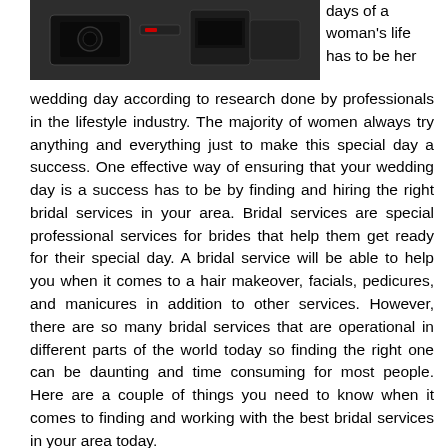[Figure (photo): Dark/moody photo showing camera equipment or similar items on a surface]
days of a woman's life has to be her wedding day according to research done by professionals in the lifestyle industry. The majority of women always try anything and everything just to make this special day a success. One effective way of ensuring that your wedding day is a success has to be by finding and hiring the right bridal services in your area. Bridal services are special professional services for brides that help them get ready for their special day. A bridal service will be able to help you when it comes to a hair makeover, facials, pedicures, and manicures in addition to other services. However, there are so many bridal services that are operational in different parts of the world today so finding the right one can be daunting and time consuming for most people. Here are a couple of things you need to know when it comes to finding and working with the best bridal services in your area today.
The first thing everyone needs to do when it comes to